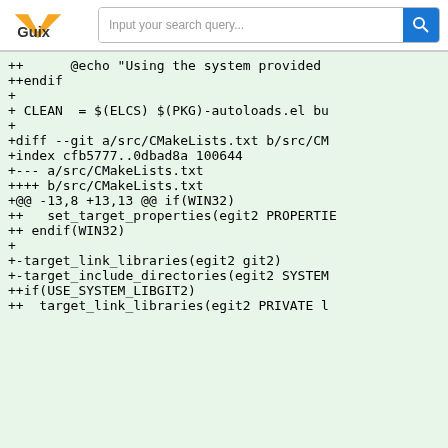Guix | Input your search query...
++      @echo "Using the system provided
++endif
+
+ CLEAN  = $(ELCS) $(PKG)-autoloads.el bu
+
+diff --git a/src/CMakeLists.txt b/src/CM
+index cfb5777..0dbad8a 100644
+--- a/src/CMakeLists.txt
++++ b/src/CMakeLists.txt
+@@ -13,8 +13,13 @@ if(WIN32)
++   set_target_properties(egit2 PROPERTIE
++ endif(WIN32)
+
++-target_link_libraries(egit2 git2)
++-target_include_directories(egit2 SYSTEM
+++if(USE_SYSTEM_LIBGIT2)
+++  target_link_libraries(egit2 PRIVATE l